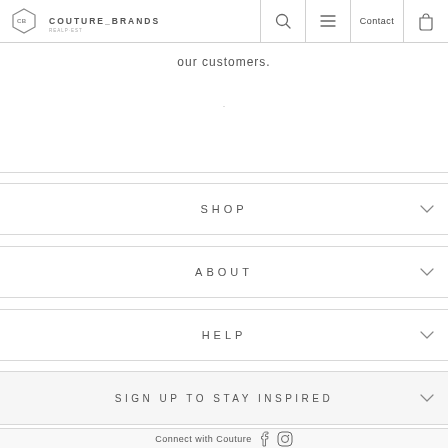COUTURE BRANDS — navigation header with search, menu, Contact, and bag icons
our customers.
.
SHOP
ABOUT
HELP
SIGN UP TO STAY INSPIRED
Connect with Couture